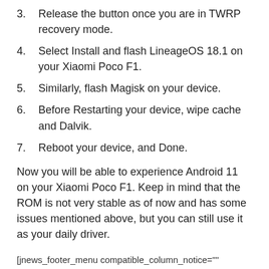3. Release the button once you are in TWRP recovery mode.
4. Select Install and flash LineageOS 18.1 on your Xiaomi Poco F1.
5. Similarly, flash Magisk on your device.
6. Before Restarting your device, wipe cache and Dalvik.
7. Reboot your device, and Done.
Now you will be able to experience Android 11 on your Xiaomi Poco F1. Keep in mind that the ROM is not very stable as of now and has some issues mentioned above, but you can still use it as your daily driver.
[jnews_footer_menu compatible_column_notice=""